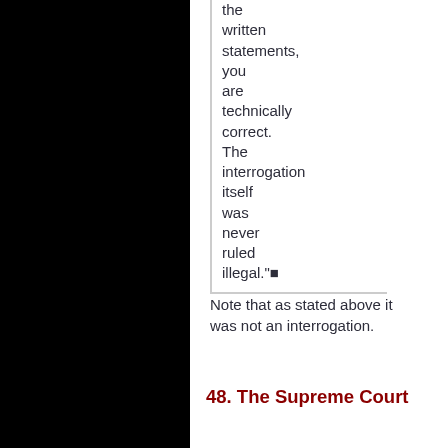the written statements, you are technically correct. The interrogation itself was never ruled illegal."■
Note that as stated above it was not an interrogation.
48. The Supreme Court